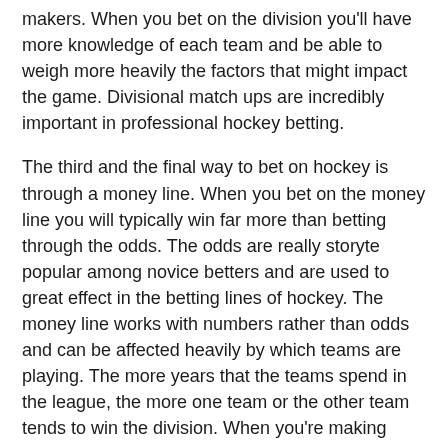makers. When you bet on the division you'll have more knowledge of each team and be able to weigh more heavily the factors that might impact the game. Divisional match ups are incredibly important in professional hockey betting.
The third and the final way to bet on hockey is through a money line. When you bet on the money line you will typically win far more than betting through the odds. The odds are really storyte popular among novice betters and are used to great effect in the betting lines of hockey. The money line works with numbers rather than odds and can be affected heavily by which teams are playing. The more years that the teams spend in the league, the more one team or the other team tends to win the division. When you're making your NHL betting picks, you want to invest your money on the team that you feel has the best chance of winning. There's no use betting on the odds, the same way as the squares bet on the odds. The odds are the ones that don't matter in the end; the main